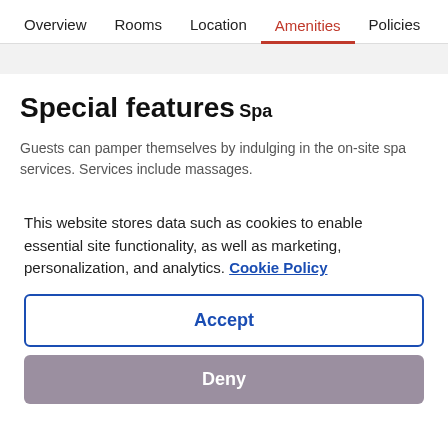Overview   Rooms   Location   Amenities   Policies   Reviews
Special features
Spa
Guests can pamper themselves by indulging in the on-site spa services. Services include massages.
This website stores data such as cookies to enable essential site functionality, as well as marketing, personalization, and analytics. Cookie Policy
Accept
Deny